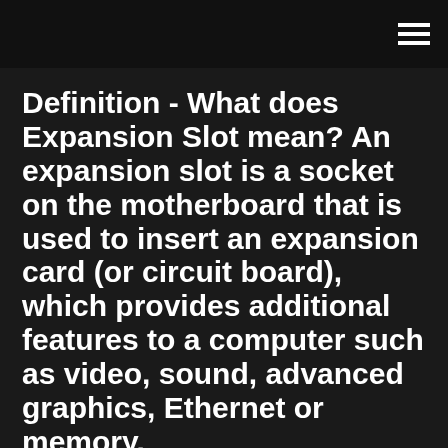Definition - What does Expansion Slot mean? An expansion slot is a socket on the motherboard that is used to insert an expansion card (or circuit board), which provides additional features to a computer such as video, sound, advanced graphics, Ethernet or memory.
8x will be significant to warrant a change in mainboard as well. In short - is there a big difference putting an agp 8x card into an agp 4x slot vs. All agp 8x capable   17 Jan 2020. AGP Definition and Details ... AGP vs. PCI & PCI E...